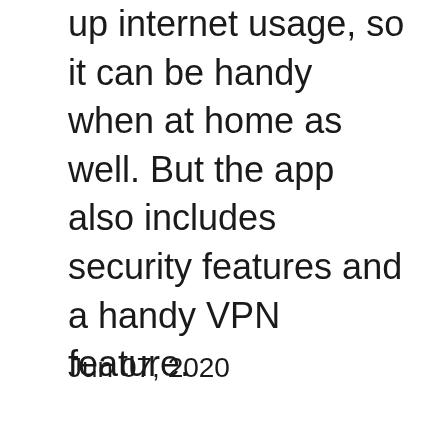up internet usage, so it can be handy when at home as well. But the app also includes security features and a handy VPN feature.
Jun 07, 2020